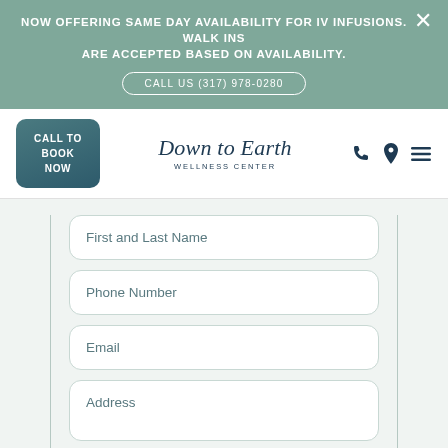NOW OFFERING SAME DAY AVAILABILITY FOR IV INFUSIONS. WALK INS ARE ACCEPTED BASED ON AVAILABILITY.
CALL US (317) 978-0280
[Figure (screenshot): Down to Earth Wellness Center navigation header with Call to Book Now button, logo, phone icon, location icon, and hamburger menu]
First and Last Name
Phone Number
Email
Address
Vitae sem ante ac sem velit risus.